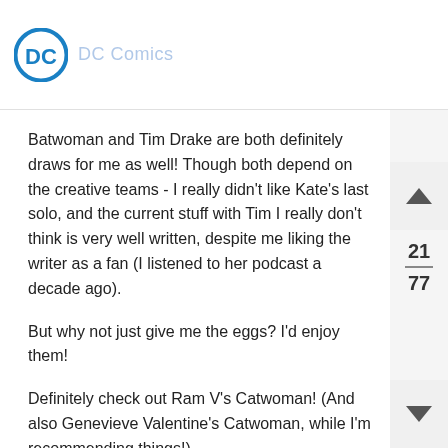DC Comics
Batwoman and Tim Drake are both definitely draws for me as well! Though both depend on the creative teams - I really didn't like Kate's last solo, and the current stuff with Tim I really don't think is very well written, despite me liking the writer as a fan (I listened to her podcast a decade ago).
But why not just give me the eggs? I'd enjoy them!
Definitely check out Ram V's Catwoman! (And also Genevieve Valentine's Catwoman, while I'm recommending things!)
Glasses wearing fistbump! Though I've only been wearing them for the last 25 years.